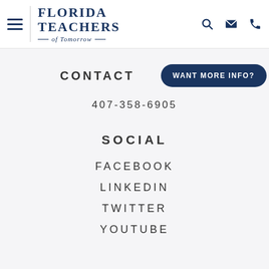[Figure (logo): Florida Teachers of Tomorrow logo with hamburger menu, divider, and navigation icons (search, email, phone)]
CONTACT
[Figure (other): Dark navy pill-shaped button reading WANT MORE INFO?]
407-358-6905
SOCIAL
FACEBOOK
LINKEDIN
TWITTER
YOUTUBE